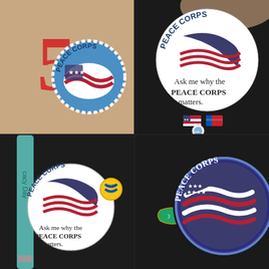[Figure (photo): Top-left quadrant: A red crocheted/felted number '5' alongside a circular Peace Corps pin/badge featuring blue and white with American flag design and 'PEACE CORPS' text, on tan/brown background.]
[Figure (photo): Top-right quadrant: A large circular white button pin pinned to black fabric reading 'PEACE CORPS Ask me why the PEACE CORPS matters.' with the Peace Corps logo (American flag wave with stars). Below it are two smaller pins: an American flag pin and a small circular Peace Corps pin.]
[Figure (photo): Bottom-left quadrant: A teal/cyan lanyard with text 'cacy Day' visible, pinned on black fabric. A large circular white button pin reads 'PEACE CORPS Ask me why the PEACE CORPS matters.' with the Peace Corps logo. Next to it is a smaller round pin with yellow/orange and blue swirl design.]
[Figure (photo): Bottom-right quadrant: Black fabric with a green Turkmenistan flag lapel pin on the left, and a large embroidered circular Peace Corps patch on the right featuring 'PEACE CORPS' text in blue and white with the American flag wave/stars design.]